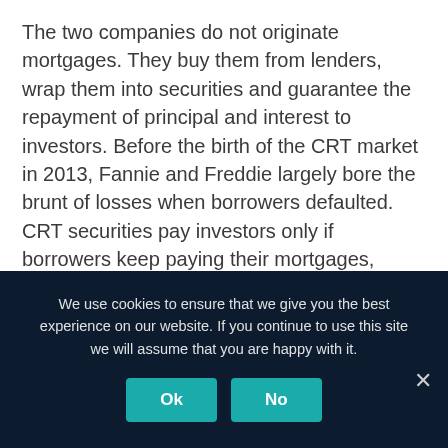The two companies do not originate mortgages. They buy them from lenders, wrap them into securities and guarantee the repayment of principal and interest to investors. Before the birth of the CRT market in 2013, Fannie and Freddie largely bore the brunt of losses when borrowers defaulted. CRT securities pay investors only if borrowers keep paying their mortgages, which protects Fannie and Freddie.
CRT bonds have a market capitalization of
We use cookies to ensure that we give you the best experience on our website. If you continue to use this site we will assume that you are happy with it.